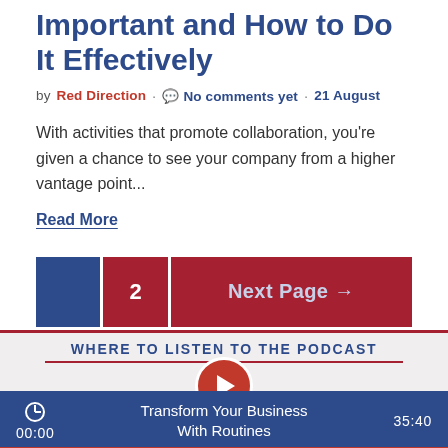Important and How to Do It Effectively
by Red Direction · No comments yet · 21 August
With activities that promote collaboration, you're given a chance to see your company from a higher vantage point...
Read More
[Figure (other): Pagination buttons: page 1 (dark blue, current), page 2 (red), Next Page arrow (red)]
WHERE TO LISTEN TO THE PODCAST
[Figure (other): Podcast player bar showing time 00:00, title 'Transform Your Business With Routines', duration 35:40]